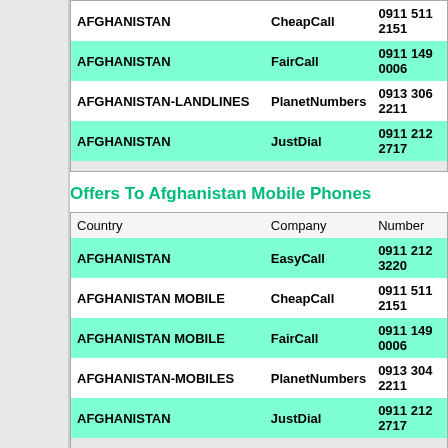| Country | Company | Number |
| --- | --- | --- |
| AFGHANISTAN | CheapCall | 0911 511 2151 |
| AFGHANISTAN | FairCall | 0911 149 0006 |
| AFGHANISTAN-LANDLINES | PlanetNumbers | 0913 306 2211 |
| AFGHANISTAN | JustDial | 0911 212 2717 |
Offers To Afghanistan Mobile Phones
| Country | Company | Number |
| --- | --- | --- |
| AFGHANISTAN | EasyCall | 0911 212 3220 |
| AFGHANISTAN MOBILE | CheapCall | 0911 511 2151 |
| AFGHANISTAN MOBILE | FairCall | 0911 149 0006 |
| AFGHANISTAN-MOBILES | PlanetNumbers | 0913 304 2211 |
| AFGHANISTAN | JustDial | 0911 212 2717 |